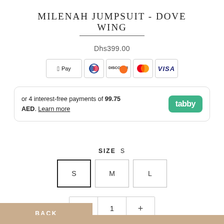MILENAH JUMPSUIT - DOVE WING
Dhs399.00
[Figure (infographic): Payment method icons: Apple Pay, Diners Club, Discover, Mastercard, Visa]
or 4 interest-free payments of 99.75 AED. Learn more
SIZE  S
S  M  L
- 1 +
BACK